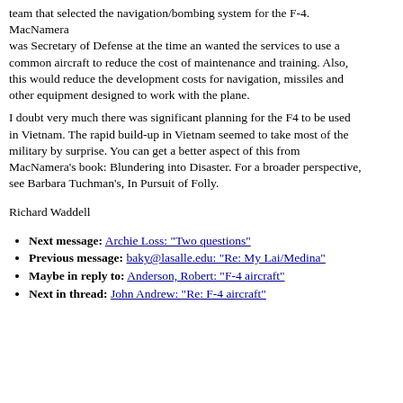team that selected the navigation/bombing system for the F-4. MacNamera was Secretary of Defense at the time an wanted the services to use a common aircraft to reduce the cost of maintenance and training. Also, this would reduce the development costs for navigation, missiles and other equipment designed to work with the plane.
I doubt very much there was significant planning for the F4 to be used in Vietnam. The rapid build-up in Vietnam seemed to take most of the military by surprise. You can get a better aspect of this from MacNamera's book: Blundering into Disaster. For a broader perspective, see Barbara Tuchman's, In Pursuit of Folly.
Richard Waddell
Next message: Archie Loss: "Two questions"
Previous message: baky@lasalle.edu: "Re: My Lai/Medina"
Maybe in reply to: Anderson, Robert: "F-4 aircraft"
Next in thread: John Andrew: "Re: F-4 aircraft"